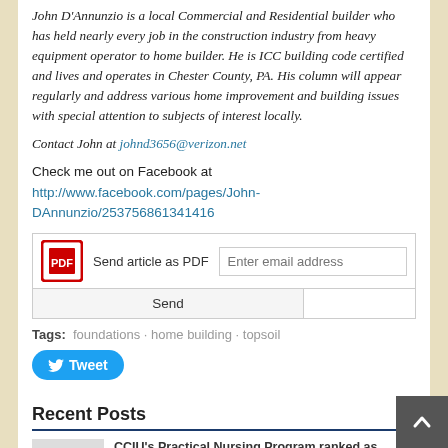John D'Annunzio is a local Commercial and Residential builder who has held nearly every job in the construction industry from heavy equipment operator to home builder. He is ICC building code certified and lives and operates in Chester County, PA. His column will appear regularly and address various home improvement and building issues with special attention to subjects of interest locally.
Contact John at johnd3656@verizon.net
Check me out on Facebook at http://www.facebook.com/pages/John-DAnnunzio/253756861341416
[Figure (screenshot): Send article as PDF widget with email input and Send button]
Tags: foundations · home building · topsoil
[Figure (other): Tweet button (Twitter/X share button)]
Recent Posts
CCIU's Practical Nursing Program ranked as one of the best in PA